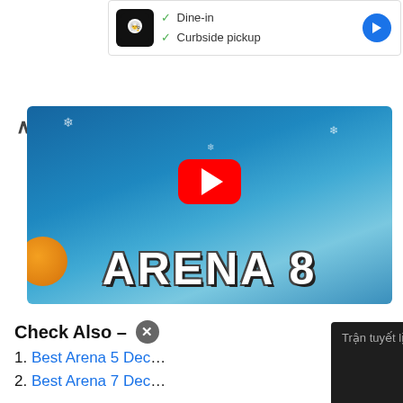[Figure (screenshot): Ad banner with chef icon, Dine-in and Curbside pickup checkmarks, and direction arrow]
✓ Dine-in
✓ Curbside pickup
[Figure (screenshot): YouTube video thumbnail for Arena 8 game content with play button]
Check Also –
1. Best Arena 5 Dec…
2. Best Arena 7 Dec…
3. Best Arena 4 Dec…
[Figure (screenshot): Mini video overlay showing 'Trận tuyết lịch sử ...' with play button]